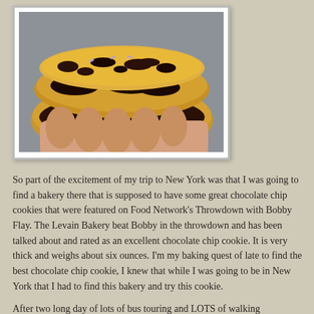[Figure (photo): A hand holding two chocolate chip cookies stacked on top of each other, showing the thick cross-section with large chocolate chunks visible inside.]
So part of the excitement of my trip to New York was that I was going to find a bakery there that is supposed to have some great chocolate chip cookies that were featured on Food Network's Throwdown with Bobby Flay.  The Levain Bakery beat Bobby in the throwdown and has been talked about and rated as an excellent chocolate chip cookie.  It is very thick and weighs about six ounces.  I'm my baking quest of late to find the best chocolate chip cookie, I knew that while I was going to be in New York that I had to find this bakery and try this cookie.
After two long day of lots of bus touring and LOTS of walking